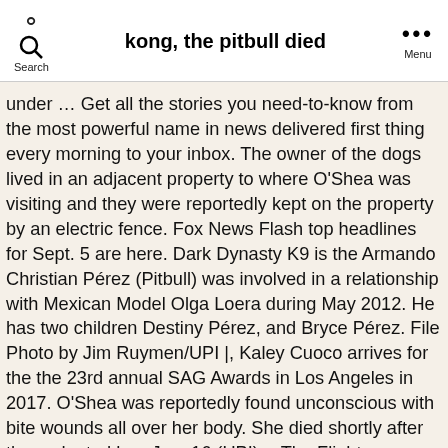kong, the pitbull died
under … Get all the stories you need-to-know from the most powerful name in news delivered first thing every morning to your inbox. The owner of the dogs lived in an adjacent property to where O'Shea was visiting and they were reportedly kept on the property by an electric fence. Fox News Flash top headlines for Sept. 5 are here. Dark Dynasty K9 is the Armando Christian Pérez (Pitbull) was involved in a relationship with Mexican Model Olga Loera during May 2012. He has two children Destiny Pérez, and Bryce Pérez. File Photo by Jim Ruymen/UPI |, Kaley Cuoco arrives for the the 23rd annual SAG Awards in Los Angeles in 2017. O'Shea was reportedly found unconscious with bite wounds all over her body. She died shortly after they adopted her. Jan. 16 (UPI) -- The Flight Attendant and The Big Bang Theory actress Kaley Cuoco announced on Instagram Saturday the death of her dog Norman. THE 'world's biggest pit bull' is so gentle its owners allow him to look after their baby son. While some